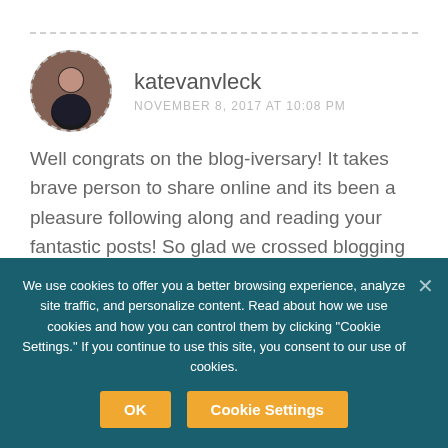katevanvleck
NOVEMBER 8, 2017 AT 10:08 PM
Well congrats on the blog-iversary! It takes brave person to share online and its been a pleasure following along and reading your fantastic posts! So glad we crossed blogging paths 💕
Loading...
We use cookies to offer you a better browsing experience, analyze site traffic, and personalize content. Read about how we use cookies and how you can control them by clicking "Cookie Settings." If you continue to use this site, you consent to our use of cookies.
OK
Cookie Settings